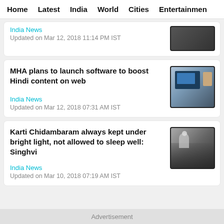Home  Latest  India  World  Cities  Entertainment
India News
Updated on Mar 12, 2018 11:14 PM IST
MHA plans to launch software to boost Hindi content on web
India News
Updated on Mar 12, 2018 07:31 AM IST
Karti Chidambaram always kept under bright light, not allowed to sleep well: Singhvi
India News
Updated on Mar 10, 2018 07:19 AM IST
Advertisement